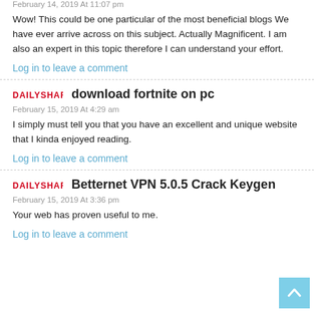February 14, 2019 At 11:07 pm
Wow! This could be one particular of the most beneficial blogs We have ever arrive across on this subject. Actually Magnificent. I am also an expert in this topic therefore I can understand your effort.
Log in to leave a comment
[Figure (logo): DailyShark logo in red text]
download fortnite on pc
February 15, 2019 At 4:29 am
I simply must tell you that you have an excellent and unique website that I kinda enjoyed reading.
Log in to leave a comment
[Figure (logo): DailyShark logo in red text]
Betternet VPN 5.0.5 Crack Keygen
February 15, 2019 At 3:36 pm
Your web has proven useful to me.
Log in to leave a comment